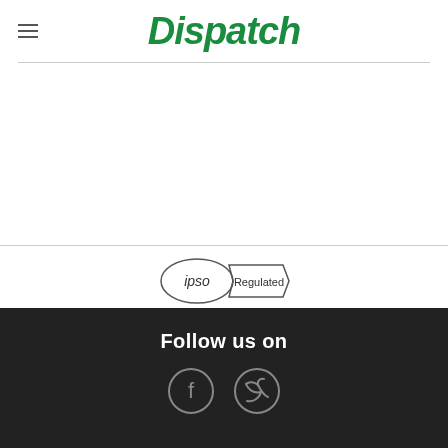Dispatch
[Figure (logo): IPSO Regulated badge logo]
This website and its associated newspaper are members of Independent Press Standards Organisation (IPSO)
Follow us on
[Figure (illustration): Facebook and Twitter social media circular icon buttons]